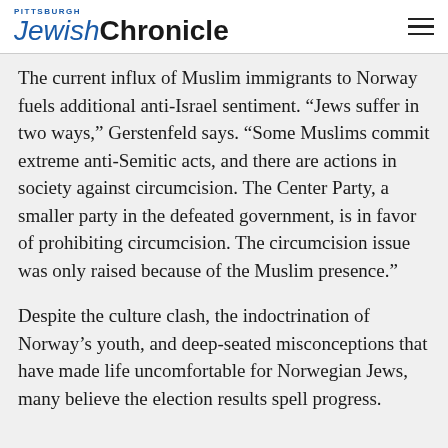Pittsburgh Jewish Chronicle
The current influx of Muslim immigrants to Norway fuels additional anti-Israel sentiment. “Jews suffer in two ways,” Gerstenfeld says. “Some Muslims commit extreme anti-Semitic acts, and there are actions in society against circumcision. The Center Party, a smaller party in the defeated government, is in favor of prohibiting circumcision. The circumcision issue was only raised because of the Muslim presence.”
Despite the culture clash, the indoctrination of Norway’s youth, and deep-seated misconceptions that have made life uncomfortable for Norwegian Jews, many believe the election results spell progress.